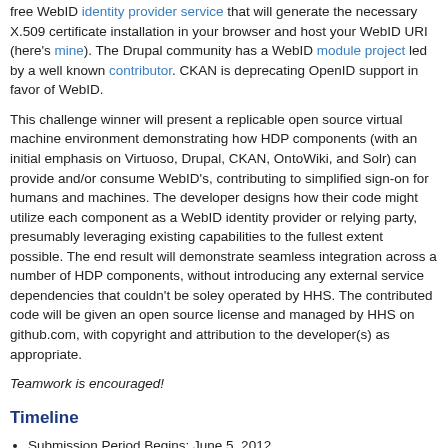free WebID identity provider service that will generate the necessary X.509 certificate installation in your browser and host your WebID URI (here's mine). The Drupal community has a WebID module project led by a well known contributor. CKAN is deprecating OpenID support in favor of WebID.
This challenge winner will present a replicable open source virtual machine environment demonstrating how HDP components (with an initial emphasis on Virtuoso, Drupal, CKAN, OntoWiki, and Solr) can provide and/or consume WebID's, contributing to simplified sign-on for humans and machines. The developer designs how their code might utilize each component as a WebID identity provider or relying party, presumably leveraging existing capabilities to the fullest extent possible. The end result will demonstrate seamless integration across a number of HDP components, without introducing any external service dependencies that couldn't be soley operated by HHS. The contributed code will be given an open source license and managed by HHS on github.com, with copyright and attribution to the developer(s) as appropriate.
Teamwork is encouraged!
Timeline
Submission Period Begins: June 5, 2012
Submission Period for Entries Ends: October 2, 2012
Evaluation Process for Entries Begins: October 5, 2012
Evaluation Process for Entries Ends: October 19, 2012
Winners notified: October 26, 2012
Winners Announced: Industry conference TBD